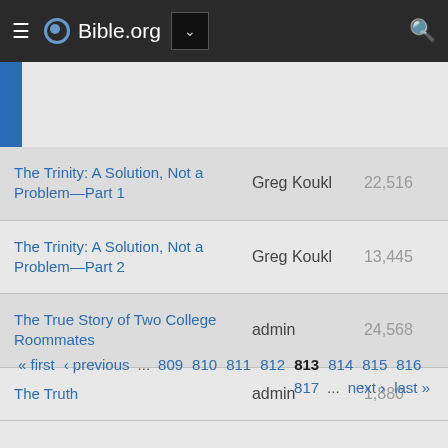Bible.org
| Title | Author | Views |
| --- | --- | --- |
| The Trinity: A Solution, Not a Problem—Part 1 | Greg Koukl | 22,516 |
| The Trinity: A Solution, Not a Problem—Part 2 | Greg Koukl | 13,445 |
| The True Story of Two College Roommates | admin | 24,568 |
| The Truth | admin | 1,880 |
« first ‹ previous … 809 810 811 812 813 814 815 816 817 … next › last »